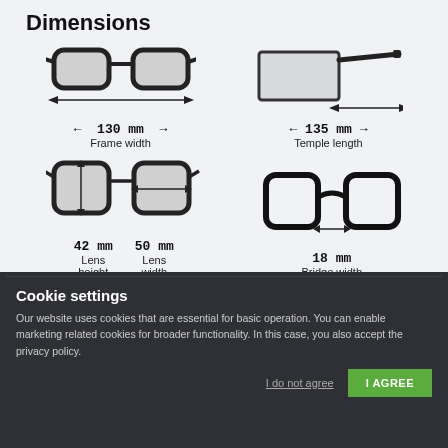Dimensions
[Figure (infographic): Four eyeglass frame diagrams showing dimensions: Frame width 130mm, Temple length 135mm, Lens height 42mm, Lens width 50mm, Bridge width 18mm]
Cookie settings
Our website uses cookies that are essential for basic operation. You can enable marketing related cookies for broader functionality. In this case, you also accept the privacy policy.
I do not agree  I AGREE